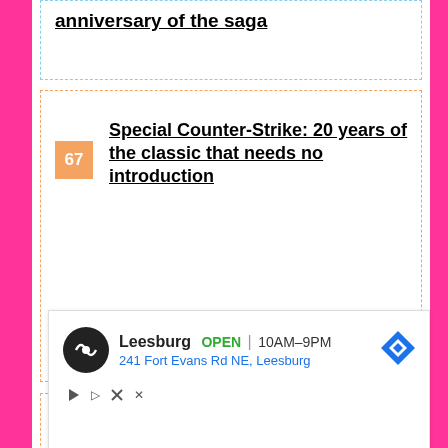anniversary of the saga
67 Special Counter-Strike: 20 years of the classic that needs no introduction
68 Assassin's Creed Origins will receive several updates this month
Leesburg OPEN | 10AM–9PM 241 Fort Evans Rd NE, Leesburg